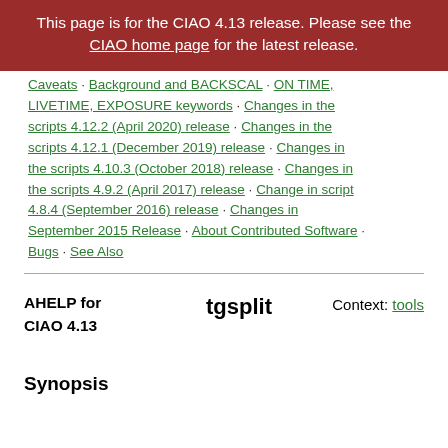This page is for the CIAO 4.13 release. Please see the CIAO home page for the latest release.
Caveats · Background and BACKSCAL · ON TIME, LIVETIME, EXPOSURE keywords · Changes in the scripts 4.12.2 (April 2020) release · Changes in the scripts 4.12.1 (December 2019) release · Changes in the scripts 4.10.3 (October 2018) release · Changes in the scripts 4.9.2 (April 2017) release · Change in script 4.8.4 (September 2016) release · Changes in September 2015 Release · About Contributed Software · Bugs · See Also
AHELP for CIAO 4.13
tgsplit
Context: tools
Synopsis